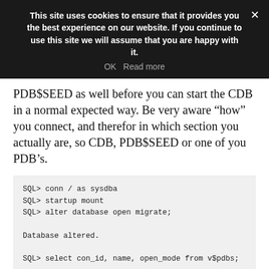This site uses cookies to ensure that it provides you the best experience on our website. If you continue to use this site we will assume that you are happy with it.
OK   Read more
PDB$SEED as well before you can start the CDB in a normal expected way. Be very aware "how" you connect, and therefor in which section you actually are, so CDB, PDB$SEED or one of you PDB's.
SQL> conn / as sysdba
SQL> startup mount
SQL> alter database open migrate;

Database altered.

SQL> select con_id, name, open_mode from v$pdbs;

CON_ID NAME OPEN_MODE
---------- -------------------------------- -------